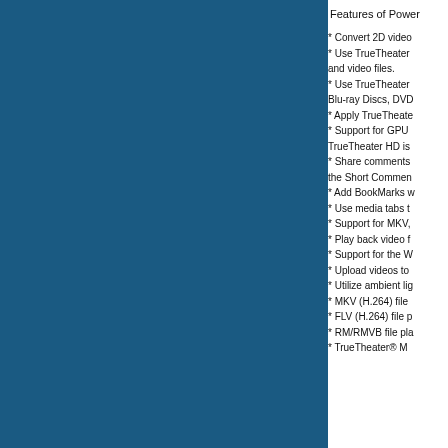Features of Power
* Convert 2D video
* Use TrueTheater and video files.
* Use TrueTheater Blu-ray Discs, DVD
* Apply TrueTheate
* Support for GPU TrueTheater HD is
* Share comments the Short Commen
* Add BookMarks w
* Use media tabs t
* Support for MKV,
* Play back video f
* Support for the W
* Upload videos to
* Utilize ambient lig
* MKV (H.264) file
* FLV (H.264) file p
* RM/RMVB file pla
* TrueTheater® M